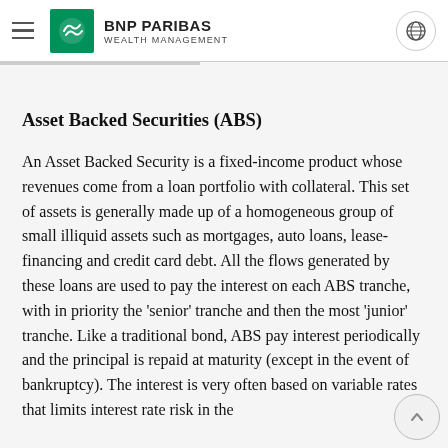BNP PARIBAS WEALTH MANAGEMENT
Asset Backed Securities (ABS)
An Asset Backed Security is a fixed-income product whose revenues come from a loan portfolio with collateral. This set of assets is generally made up of a homogeneous group of small illiquid assets such as mortgages, auto loans, lease-financing and credit card debt. All the flows generated by these loans are used to pay the interest on each ABS tranche, with in priority the 'senior' tranche and then the most 'junior' tranche. Like a traditional bond, ABS pay interest periodically and the principal is repaid at maturity (except in the event of bankruptcy). The interest is very often based on variable rates that limits interest rate risk in the